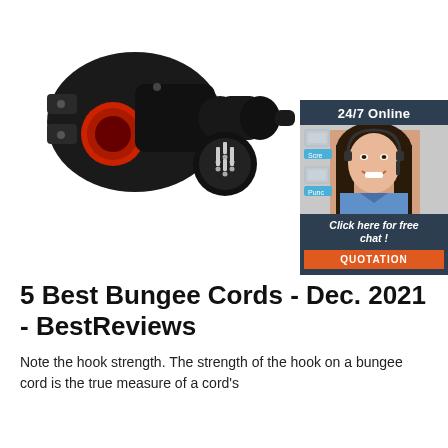[Figure (photo): Product photo of a black waterproof circular connector with a red round panel mount socket on the left and a male plug connector head on the right showing metal pins]
[Figure (infographic): Advertisement banner with dark navy background showing '24/7 Online' header, photo of a smiling woman wearing a headset, two small icons with 'Scre' and 'Punc' labels, text 'Click here for free chat!' and an orange QUOTATION button]
5 Best Bungee Cords - Dec. 2021 - BestReviews
Note the hook strength. The strength of the hook on a bungee cord is the true measure of a cord's